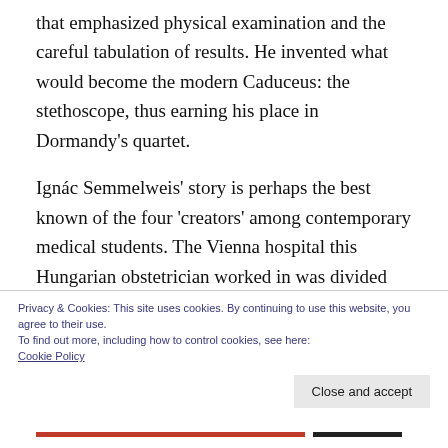that emphasized physical examination and the careful tabulation of results. He invented what would become the modern Caduceus: the stethoscope, thus earning his place in Dormandy's quartet.
Ignác Semmelweis' story is perhaps the best known of the four 'creators' among contemporary medical students. The Vienna hospital this Hungarian obstetrician worked in was divided into a section for wealthier women
Privacy & Cookies: This site uses cookies. By continuing to use this website, you agree to their use.
To find out more, including how to control cookies, see here:
Cookie Policy
Close and accept